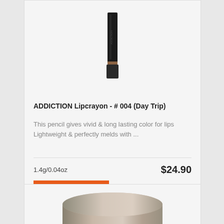[Figure (photo): Product photo of ADDICTION Lipcrayon lipstick pencil in dark packaging with brown/copper band, shown against light background]
ADDICTION Lipcrayon - # 004 (Day Trip)
This pencil gives vivid & long lasting color for lips Lightweight & perfectly melds with ...
1.4g/0.04oz
$24.90
ADD TO CART
[Figure (photo): Partial view of a second product — a round metallic silver/gold compact or container, cropped at bottom of page]